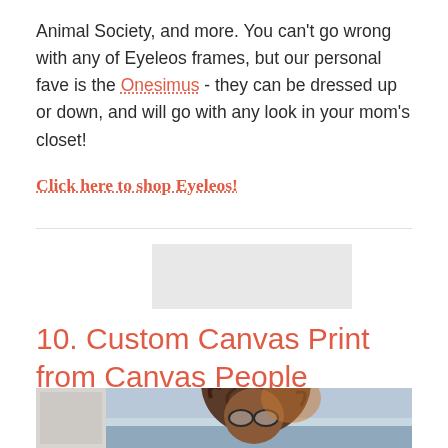Animal Society, and more. You can't go wrong with any of Eyeleos frames, but our personal fave is the Onesimus - they can be dressed up or down, and will go with any look in your mom's closet!
Click here to shop Eyeleos!
10. Custom Canvas Print from Canvas People
[Figure (photo): Woman with glasses and windswept hair photographed at a beach, image appears on a canvas print]